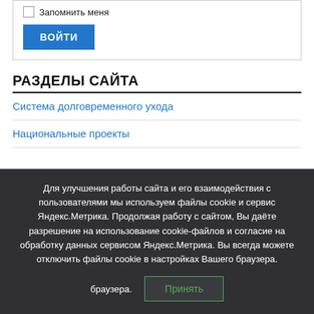Запомнить меня
ВОЙТИ
РАЗДЕЛЫ САЙТА
Система долговременного ухода
Национальные проекты
Для улучшения работы сайта и его взаимодействия с пользователями мы используем файлы cookie и сервис Яндекс.Метрика. Продолжая работу с сайтом, Вы даёте разрешение на использование cookie-файлов и согласие на обработку данных сервисом Яндекс.Метрика. Вы всегда можете отключить файлы cookie в настройках Вашего браузера.
Принять